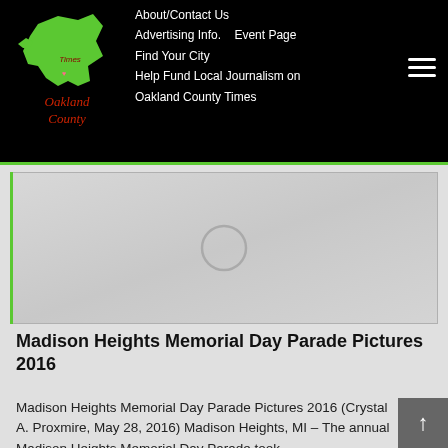About/Contact Us  Advertising Info.  Event Page  Find Your City  Help Fund Local Journalism on Oakland County Times
[Figure (logo): Oakland County Times logo: green Michigan state silhouette with red 'Times' text and pink heart, with 'Oakland County' in red cursive text]
[Figure (photo): Video/image placeholder with light wood texture background and a circular play button icon in the center]
Madison Heights Memorial Day Parade Pictures 2016
Madison Heights Memorial Day Parade Pictures 2016 (Crystal A. Proxmire, May 28, 2016) Madison Heights, MI – The annual Madison Heights Memorial Day Parade took